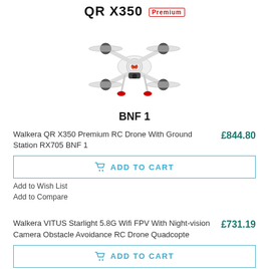QR X350 Premium
[Figure (photo): White quadcopter drone (Walkera QR X350 Premium) viewed from front, with four rotors and red landing gear tips]
BNF 1
Walkera QR X350 Premium RC Drone With Ground Station RX705 BNF 1
£844.80
ADD TO CART
Add to Wish List
Add to Compare
Walkera VITUS Starlight 5.8G Wifi FPV With Night-vision Camera Obstacle Avoidance RC Drone Quadcopte
£731.19
ADD TO CART